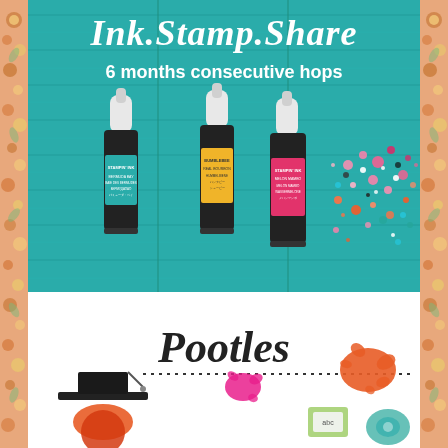Ink.Stamp.Share
6 months consecutive hops
[Figure (photo): Three Stampin' Up ink refill bottles (Bermuda Bay, Bumblebee/Real Bourbon, Melon Mambo) on a teal painted wood background with colorful sequins/confetti scattered to the right]
[Figure (logo): Pootles logo with decorative ink splat elements and a graduation-style figure at bottom]